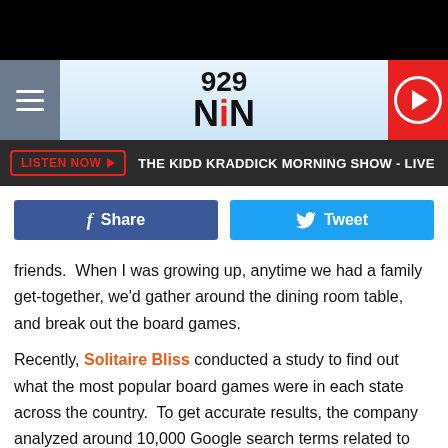[Figure (screenshot): Radio station 929 NIN website header with hamburger menu, logo, and play button]
THE KIDD KRADDICK MORNING SHOW - LIVE
[Figure (infographic): Social sharing buttons: Facebook Share and Twitter Tweet]
friends.  When I was growing up, anytime we had a family get-together, we'd gather around the dining room table, and break out the board games.
Recently, Solitaire Bliss conducted a study to find out what the most popular board games were in each state across the country.  To get accurate results, the company analyzed around 10,000 Google search terms related to board games and surveyed around 1,000 Americans from each state.